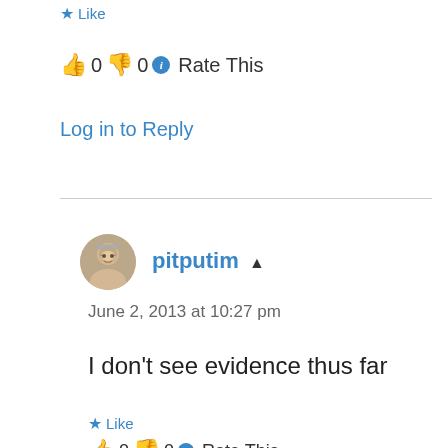★ Like
👍 0 👎 0 ℹ Rate This
Log in to Reply
pitputim ▲
June 2, 2013 at 10:27 pm
I don't see evidence thus far
★ Like
👍 0 👎 0 ℹ Rate This